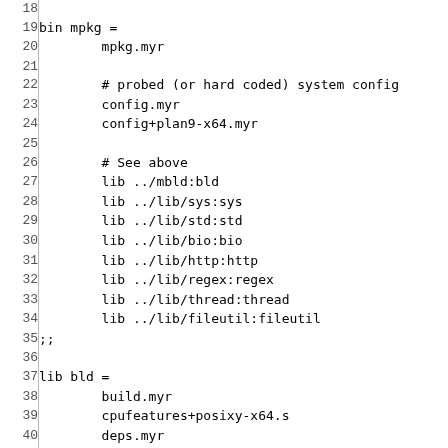Code listing lines 18-47 showing build configuration file with bin mpkg and lib bld sections